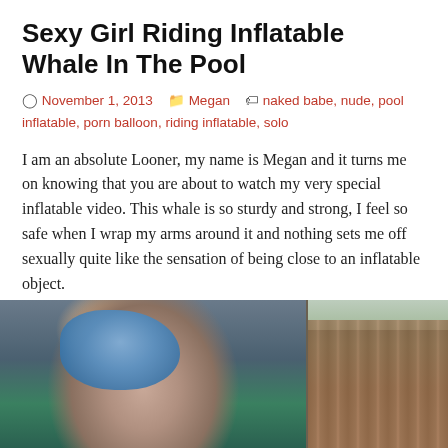Sexy Girl Riding Inflatable Whale In The Pool
November 1, 2013   Megan   naked babe, nude, pool inflatable, porn balloon, riding inflatable, solo
I am an absolute Looner, my name is Megan and it turns me on knowing that you are about to watch my very special inflatable video. This whale is so sturdy and strong, I feel so safe when I wrap my arms around it and nothing sets me off sexually quite like the sensation of being close to an inflatable object.
[Figure (photo): Woman in a pool holding a blue inflatable whale, outdoor setting with wooden fence and trees in background]